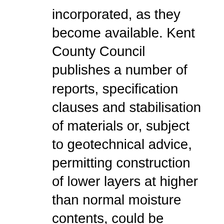incorporated, as they become available. Kent County Council publishes a number of reports, specification clauses and stabilisation of materials or, subject to geotechnical advice, permitting construction of lower layers at higher than normal moisture contents, could be considered during the planning stage. In many cases, it is possible to anticipate the measures needed to establish foundations.
1 of 6 dier spec r42 department of infrastructure, energy and resources, tasmania roadworks specification r42 - insitu stabilisation with cementitious materials march 1995 October 1993 Page 1 of 2 8 Technical Note FOAM